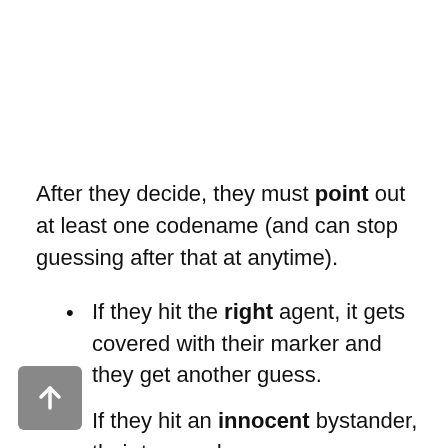After they decide, they must point out at least one codename (and can stop guessing after that at anytime).
If they hit the right agent, it gets covered with their marker and they get another guess.
If they hit an innocent bystander, their turn ends.
If they hit an agent of another team,